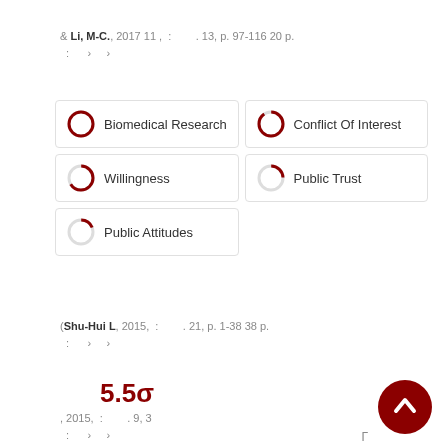& Li, M-C., 2017 11 , : . 13, p. 97-116 20 p. : › ›
[Figure (infographic): Keyword tags with donut-style circle icons: Biomedical Research (full circle), Conflict Of Interest (nearly full), Willingness (half circle), Public Trust (small segment), Public Attitudes (small segment)]
(Shu-Hui L, 2015, : . 21, p. 1-38 38 p. : › ›
, 2015, : . 9, 3 : › ›